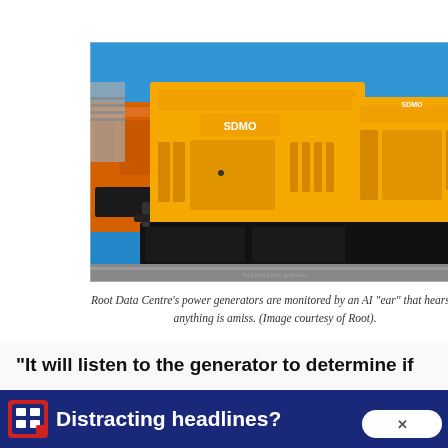[Figure (photo): Large yellow SDMO industrial power generators on black bases photographed outdoors under a clear blue sky.]
Root Data Centre's power generators are monitored by an AI “ear” that hears if anything is amiss. (Image courtesy of Root).
“It will listen to the generator to determine if
[Figure (screenshot): Advertisement banner: blue bar with an app icon and bold white text reading 'Distracting headlines?' with a white close button in the lower right corner.]